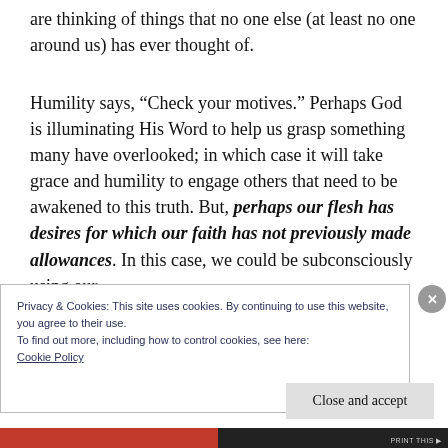are thinking of things that no one else (at least no one around us) has ever thought of.
Humility says, “Check your motives.” Perhaps God is illuminating His Word to help us grasp something many have overlooked; in which case it will take grace and humility to engage others that need to be awakened to this truth. But, perhaps our flesh has desires for which our faith has not previously made allowances. In this case, we could be subconsciously using our
Privacy & Cookies: This site uses cookies. By continuing to use this website, you agree to their use.
To find out more, including how to control cookies, see here:
Cookie Policy
Close and accept